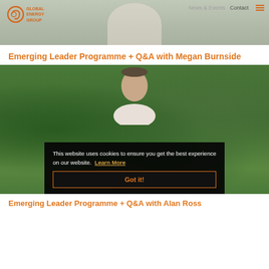[Figure (screenshot): Website header with background photo of person in white, Global Energy Group logo top left, navigation links top right (News & Events, Contact), hamburger menu icon]
Emerging Leader Programme + Q&A with Megan Burnside
[Figure (photo): Photo of a person outdoors with green foliage background, with a cookie consent overlay modal showing text and Got it! button]
This website uses cookies to ensure you get the best experience on our website. Learn More
Got it!
Emerging Leader Programme + Q&A with Alan Ross